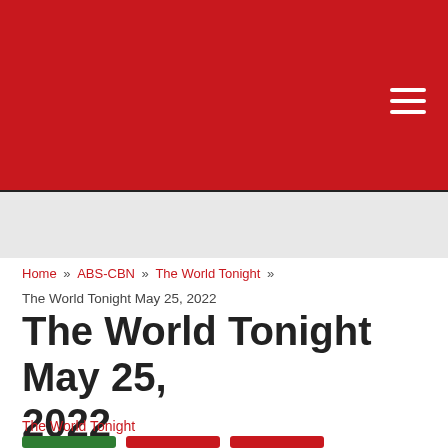[Figure (screenshot): Red header/banner area of a website with a hamburger menu icon in the top right]
Home » ABS-CBN » The World Tonight » The World Tonight May 25, 2022
The World Tonight May 25, 2022
The World Tonight